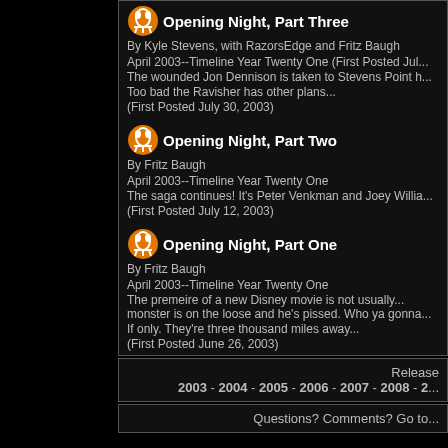Opening Night, Part Three
By Kyle Stevens, with RazorsEdge and Fritz Baugh
April 2003--Timeline Year Twenty One (First Posted Jul...
The wounded Jon Dennison is taken to Stevens Point h...
Too bad the Ravisher has other plans...
(First Posted July 30, 2003)
Opening Night, Part Two
By Fritz Baugh
April 2003--Timeline Year Twenty One
The saga continues! It's Peter Venkman and Joey Willia...
(First Posted July 12, 2003)
Opening Night, Part One
By Fritz Baugh
April 2003--Timeline Year Twenty One
The premeire of a new Disney movie is not usually... monster is on the loose and he's pissed. Who ya gonna...
If only. They're three thousand miles away...
(First Posted June 26, 2003)
Release 2003 - 2004 - 2005 - 2006 - 2007 - 2008 - ...
Questions? Comments? Go to...